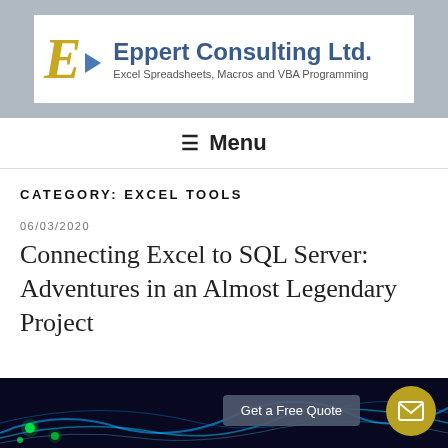[Figure (logo): Eppert Consulting Ltd. logo with yellow italic E, blue arrow, and blue text. Subtitle: Excel Spreadsheets, Macros and VBA Programming]
≡  Menu
CATEGORY: EXCEL TOOLS
06/03/2020
Connecting Excel to SQL Server: Adventures in an Almost Legendary Project
[Figure (photo): Dark technology background with glowing blue fiber optic cables and green LED lights, bottom of page]